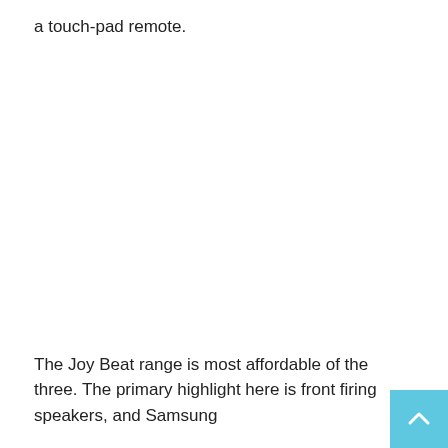a touch-pad remote.
The Joy Beat range is most affordable of the three. The primary highlight here is front firing speakers, and Samsung